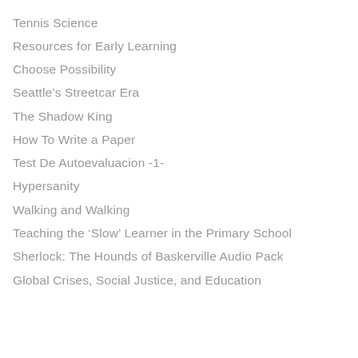Tennis Science
Resources for Early Learning
Choose Possibility
Seattle's Streetcar Era
The Shadow King
How To Write a Paper
Test De Autoevaluacion -1-
Hypersanity
Walking and Walking
Teaching the 'Slow' Learner in the Primary School
Sherlock: The Hounds of Baskerville Audio Pack
Global Crises, Social Justice, and Education